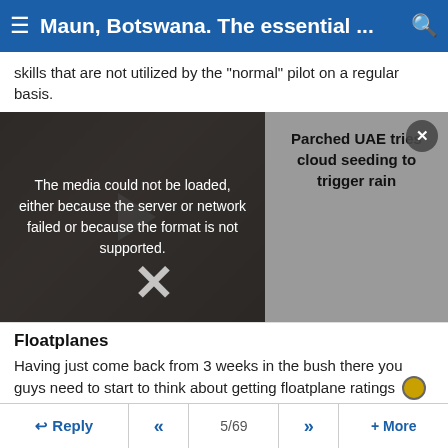Maun, Botswana. The essential ...
skills that are not utilized by the "normal" pilot on a regular basis.
[Figure (screenshot): Video player with media error overlay showing text: 'The media could not be loaded, either because the server or network failed or because the format is not supported.' A large X close symbol is visible. To the right, an article preview about 'Parched UAE tries cloud seeding to trigger rain'.]
Floatplanes
Having just come back from 3 weeks in the bush there you guys need to start to think about getting floatplane ratings 😎
#85 (permalink)
lilflyboy262   3rd Apr 2011 12:25
Reply  «  5/69  »  + More